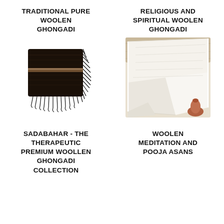TRADITIONAL PURE WOOLEN GHONGADI
[Figure (photo): Folded black woolen ghongadi (blanket/rug) with fringed edges and a horizontal stripe detail in the middle, shown on white background.]
RELIGIOUS AND SPIRITUAL WOOLEN GHONGADI
[Figure (photo): Cream/off-white woolen cloth draped and folded, with a small terracotta vase visible in the corner, suggesting a spiritual/pooja context.]
SADABAHAR - THE THERAPEUTIC PREMIUM WOOLLEN GHONGADI COLLECTION
WOOLEN MEDITATION AND POOJA ASANS